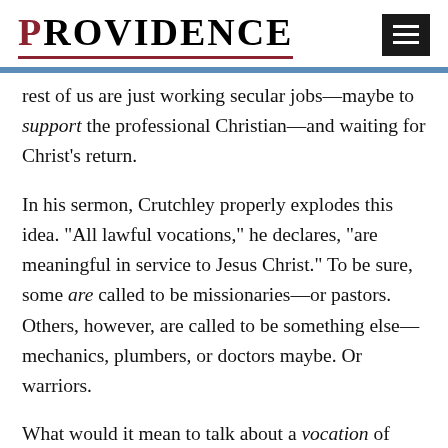PROVIDENCE
rest of us are just working secular jobs—maybe to support the professional Christian—and waiting for Christ’s return.
In his sermon, Crutchley properly explodes this idea. “All lawful vocations,” he declares, “are meaningful in service to Jesus Christ.” To be sure, some are called to be missionaries—or pastors. Others, however, are called to be something else—mechanics, plumbers, or doctors maybe. Or warriors.
What would it mean to talk about a vocation of arms?